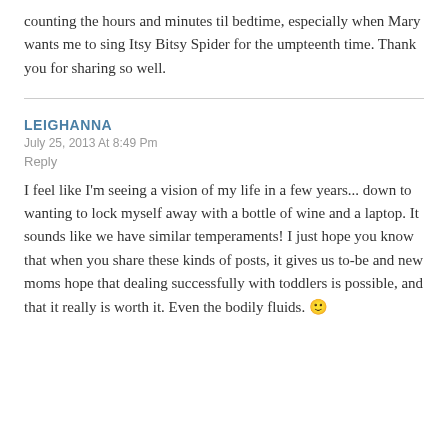counting the hours and minutes til bedtime, especially when Mary wants me to sing Itsy Bitsy Spider for the umpteenth time. Thank you for sharing so well.
LEIGHANNA
July 25, 2013 At 8:49 Pm
Reply
I feel like I'm seeing a vision of my life in a few years... down to wanting to lock myself away with a bottle of wine and a laptop. It sounds like we have similar temperaments! I just hope you know that when you share these kinds of posts, it gives us to-be and new moms hope that dealing successfully with toddlers is possible, and that it really is worth it. Even the bodily fluids. 🙂